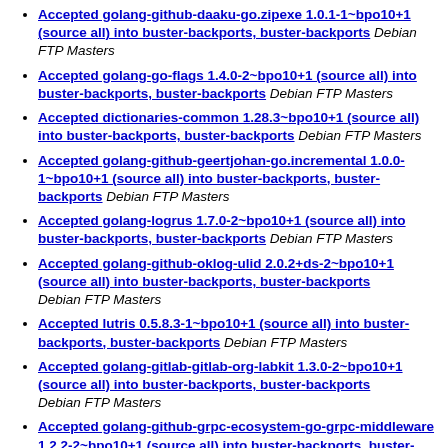Accepted golang-github-daaku-go.zipexe 1.0.1-1~bpo10+1 (source all) into buster-backports, buster-backports Debian FTP Masters
Accepted golang-go-flags 1.4.0-2~bpo10+1 (source all) into buster-backports, buster-backports Debian FTP Masters
Accepted dictionaries-common 1.28.3~bpo10+1 (source all) into buster-backports, buster-backports Debian FTP Masters
Accepted golang-github-geertjohan-go.incremental 1.0.0-1~bpo10+1 (source all) into buster-backports, buster-backports Debian FTP Masters
Accepted golang-logrus 1.7.0-2~bpo10+1 (source all) into buster-backports, buster-backports Debian FTP Masters
Accepted golang-github-oklog-ulid 2.0.2+ds-2~bpo10+1 (source all) into buster-backports, buster-backports Debian FTP Masters
Accepted lutris 0.5.8.3-1~bpo10+1 (source all) into buster-backports, buster-backports Debian FTP Masters
Accepted golang-gitlab-gitlab-org-labkit 1.3.0-2~bpo10+1 (source all) into buster-backports, buster-backports Debian FTP Masters
Accepted golang-github-grpc-ecosystem-go-grpc-middleware 1.2.2-2~bpo10+1 (source all) into buster-backports, buster-backports Debian FTP Masters